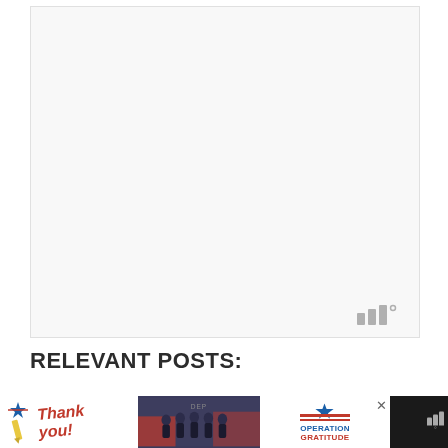[Figure (photo): Large white/light gray image area, appears blank or very light content, with a small watermark logo (stylized W with degree symbol) in the bottom-right corner]
RELEVANT POSTS:
[Figure (photo): Advertisement banner with dark background. Left side shows 'Thank you!' in handwritten style with a pencil graphic and American flag star, center shows firefighters group photo, right side shows Operation Gratitude logo with American flag star, red text 'OPERATION GRATITUDE', close X button, and small WW logo]